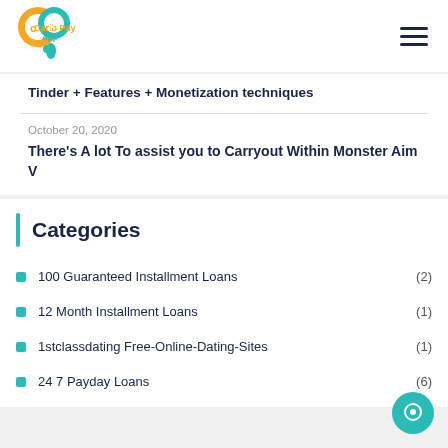[Figure (logo): Carib Pay App logo - orange and teal circular icons with 'cp' text]
Tinder + Features + Monetization techniques
October 20, 2020
There's A lot To assist you to Carryout Within Monster Aim V
Categories
100 Guaranteed Installment Loans (2)
12 Month Installment Loans (1)
1stclassdating Free-Online-Dating-Sites (1)
24 7 Payday Loans (6)